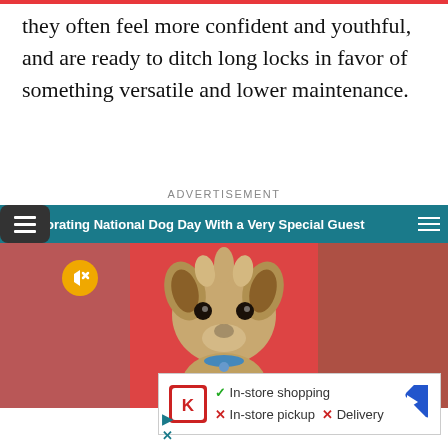they often feel more confident and youthful, and are ready to ditch long locks in favor of something versatile and lower maintenance.
ADVERTISEMENT
[Figure (screenshot): Video advertisement showing a small Yorkshire Terrier dog on a red background. The ad has a teal header bar reading 'orating National Dog Day With a Very Special Guest' with hamburger menu icons on both sides. A yellow mute button is visible on the left side. Below the video is a white overlay ad for a store showing Kroger logo, checkmark for 'In-store shopping', and X marks for 'In-store pickup' and 'Delivery', with a blue arrow navigation icon.]